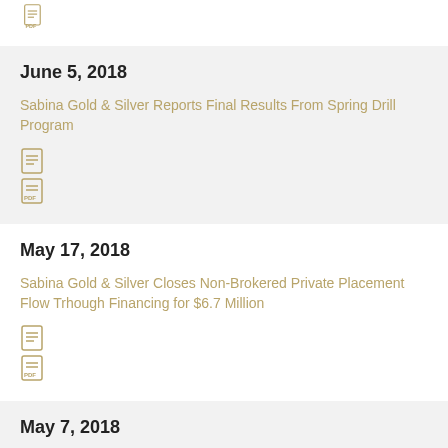[Figure (illustration): PDF document icon at top of page]
June 5, 2018
Sabina Gold & Silver Reports Final Results From Spring Drill Program
[Figure (illustration): Two document icons (text and PDF)]
May 17, 2018
Sabina Gold & Silver Closes Non-Brokered Private Placement Flow Trhough Financing for $6.7 Million
[Figure (illustration): Two document icons (text and PDF)]
May 7, 2018